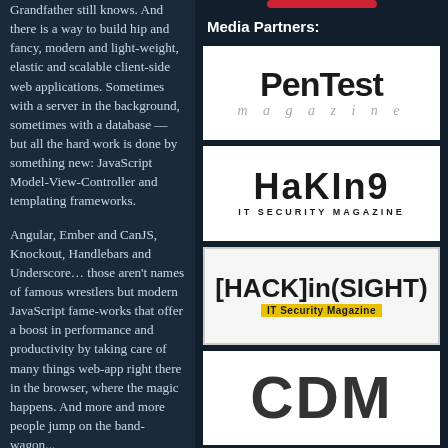Grandfather still knows. And there is a way to build hip and fancy, modern and light-weight, elastic and scalable client-side web applications. Sometimes with a server in the background, sometimes with a database — but all the hard work is done by something new: JavaScript Model-View-Controller and templating frameworks.
Angular, Ember and CanJS, Knockout, Handlebars and Underscore… those aren't names of famous wrestlers but modern JavaScript fame-works that offer a boost in performance and productivity by taking care of many things web-app right there in the browser, where the magic happens. And more and more people jump on the band-wagon...
Media Partners:
[Figure (logo): PenTest Magazine logo — large bold sans-serif text 'PenTest' with italic grey 'magazine' below]
[Figure (logo): Hakin9 IT Security Magazine logo — large bold text 'HaKIn9' with 'IT SECURITY MAGAZINE' below]
[Figure (logo): [HACK]in(SIGHT) IT Security Magazine logo on light grey background with yellow subtitle]
[Figure (logo): CDM logo in large bold dark grey letters on white background]